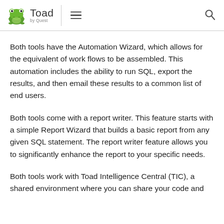Toad by Quest
Both tools have the Automation Wizard, which allows for the equivalent of work flows to be assembled. This automation includes the ability to run SQL, export the results, and then email these results to a common list of end users.
Both tools come with a report writer. This feature starts with a simple Report Wizard that builds a basic report from any given SQL statement. The report writer feature allows you to significantly enhance the report to your specific needs.
Both tools work with Toad Intelligence Central (TIC), a shared environment where you can share your code and